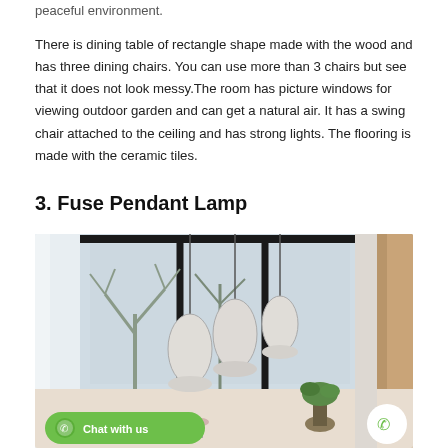peaceful environment.

There is dining table of rectangle shape made with the wood and has three dining chairs. You can use more than 3 chairs but see that it does not look messy.The room has picture windows for viewing outdoor garden and can get a natural air. It has a swing chair attached to the ceiling and has strong lights. The flooring is made with the ceramic tiles.
3. Fuse Pendant Lamp
[Figure (photo): Interior dining room photo showing pendant lamps hanging in front of large black-framed floor-to-ceiling windows with a view of a tree outside in winter. Modern interior with white walls and warm wood accents.]